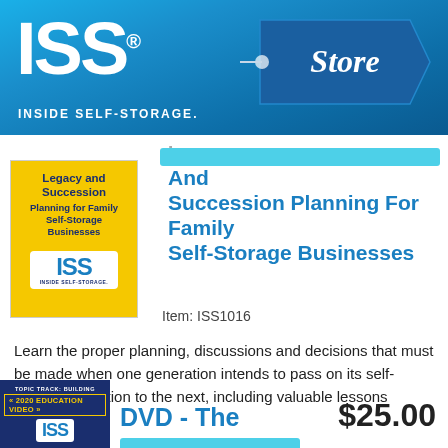[Figure (logo): ISS Inside Self-Storage Store logo on blue gradient banner background with price tag graphic containing the word 'Store']
[Figure (photo): DVD cover with yellow background showing 'Legacy and Succession Planning for Family Self-Storage Businesses' with ISS logo]
Legacy And Succession Planning For Family Self-Storage Businesses
Item: ISS1016
Learn the proper planning, discussions and decisions that must be made when one generation intends to pass on its self-storage operation to the next, including valuable lessons learned.
[Figure (photo): DVD cover with dark navy background, Topic Track: Building, 2020 Education Video label in yellow, ISS logo]
DVD - The
$25.00